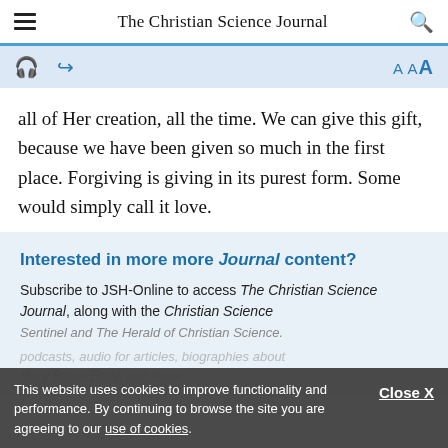The Christian Science Journal
all of Her creation, all the time. We can give this gift, because we have been given so much in the first place. Forgiving is giving in its purest form. Some would simply call it love.
Interested in more more Journal content?
Subscribe to JSH-Online to access The Christian Science Journal, along with the Christian Science Sentinel and The Herald of Christian Science.
This website uses cookies to improve functionality and performance. By continuing to browse the site you are agreeing to our use of cookies.